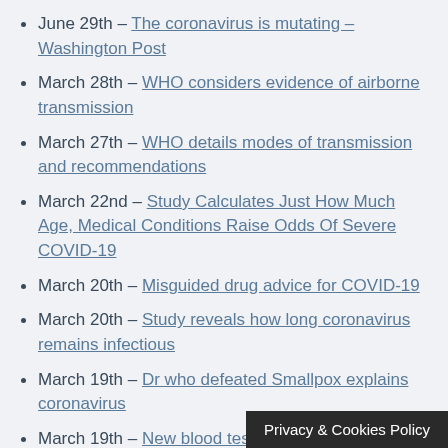June 29th – The coronavirus is mutating – Washington Post
March 28th – WHO considers evidence of airborne transmission
March 27th – WHO details modes of transmission and recommendations
March 22nd – Study Calculates Just How Much Age, Medical Conditions Raise Odds Of Severe COVID-19
March 20th – Misguided drug advice for COVID-19
March 20th – Study reveals how long coronavirus remains infectious
March 19th – Dr who defeated Smallpox explains coronavirus
March 19th – New blood tests for antibodies shows pandemic scale
March 18th – How long does the virus last on surfaces, how to cl…
Privacy & Cookies Policy